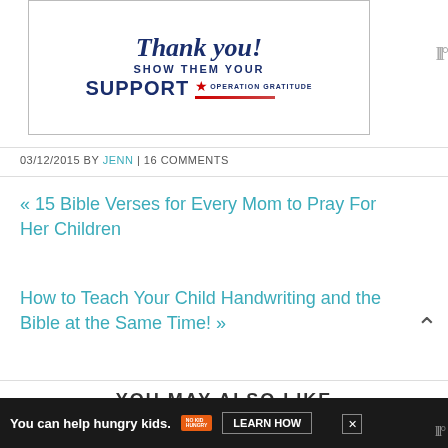[Figure (illustration): Operation Gratitude advertisement banner showing 'Thank you! Show them your SUPPORT' with Operation Gratitude logo featuring a star and American flag-style ribbon with a pencil]
03/12/2015 BY JENN | 16 COMMENTS
« 15 Bible Verses for Every Mom to Pray For Her Children
How to Teach Your Child Handwriting and the Bible at the Same Time! »
YOU MAY ALSO LIKE
[Figure (other): No Kid Hungry advertisement banner: 'You can help hungry kids. LEARN HOW']